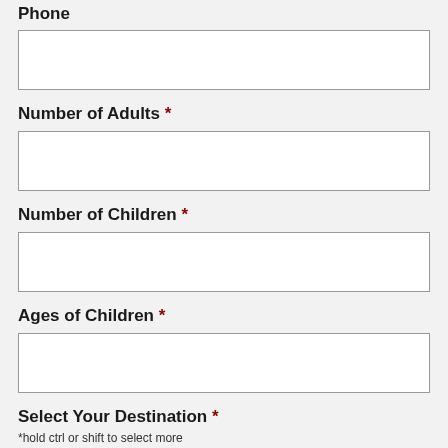Phone (truncated/partial at top)
Number of Adults *
Number of Children *
Ages of Children *
Select Your Destination *
*hold ctrl or shift to select more